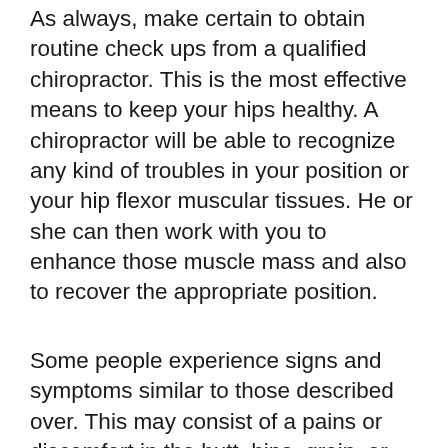As always, make certain to obtain routine check ups from a qualified chiropractor. This is the most effective means to keep your hips healthy. A chiropractor will be able to recognize any kind of troubles in your position or your hip flexor muscular tissues. He or she can then work with you to enhance those muscle mass and also to recover the appropriate position.
Some people experience signs and symptoms similar to those described over. This may consist of a pains or discomfort in the butt, hips, groin, or knee. Other people may experience tingling or a prickling sensation down their legs or in their arms or fingers. Occasionally people feel discomfort,